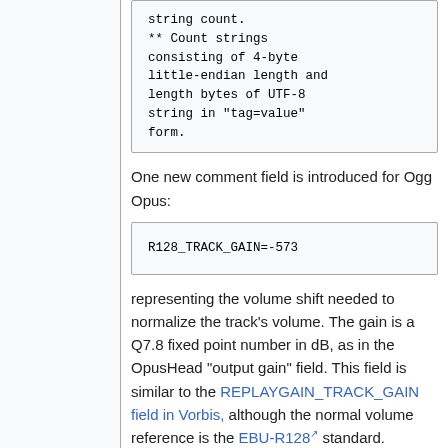string count.
 ** Count strings consisting of 4-byte little-endian length and length bytes of UTF-8 string in "tag=value" form.
One new comment field is introduced for Ogg Opus:
R128_TRACK_GAIN=-573
representing the volume shift needed to normalize the track's volume. The gain is a Q7.8 fixed point number in dB, as in the OpusHead "output gain" field. This field is similar to the REPLAYGAIN_TRACK_GAIN field in Vorbis, although the normal volume reference is the EBU-R128 standard.